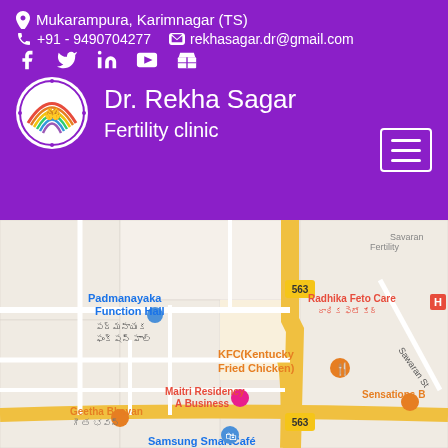Mukarampura, Karimnagar (TS)
+91 - 9490704277   rekhasagar.dr@gmail.com
[Figure (logo): Social media icons: Facebook, Twitter, LinkedIn, YouTube, store icon]
[Figure (logo): Dr. Rekha Sagar Fertility Clinic circular logo with rainbow and hands]
Dr. Rekha Sagar
Fertility clinic
[Figure (map): Google Maps view of Mukarampura, Karimnagar area showing Padmanayaka Function Hall, KFC Kentucky Fried Chicken, Radhika Feto Care, Maitri Residency A Business, Geetha Bhavan, Sensations B, Samsung SmartCafe, road 563]